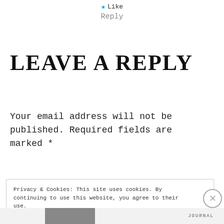★ Like
Reply
LEAVE A REPLY
Your email address will not be published. Required fields are marked *
Privacy & Cookies: This site uses cookies. By continuing to use this website, you agree to their use.
To find out more, including how to control cookies, see here: Cookie Policy
Close and accept